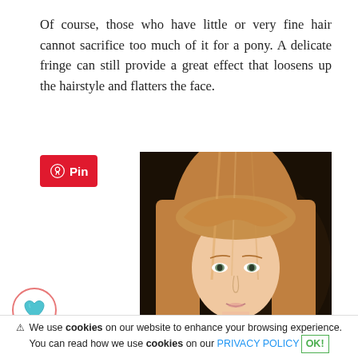Of course, those who have little or very fine hair cannot sacrifice too much of it for a pony. A delicate fringe can still provide a great effect that loosens up the hairstyle and flatters the face.
[Figure (photo): Pinterest 'Pin' button overlay on top-left, with a photo of a young woman with straight blonde/strawberry-blonde hair and wispy fringe bangs against a dark background]
[Figure (illustration): Heart/like button icon — a blue heart inside a circular border]
⚠ We use cookies on our website to enhance your browsing experience. You can read how we use cookies on our PRIVACY POLICY OK!